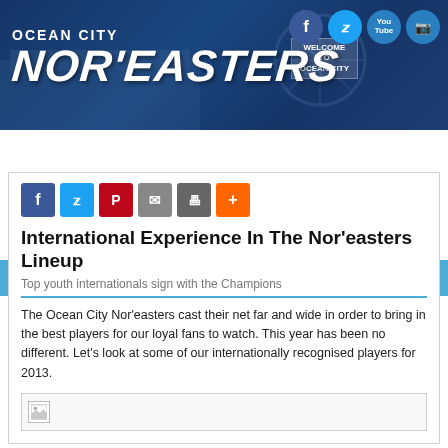[Figure (screenshot): Ocean City Nor'easters website header banner with team logo and social media icons]
≡ Site Navigation
[Figure (other): Social share buttons: Facebook, Twitter, Pinterest, Email, Print, More]
International Experience In The Nor'easters Lineup
Top youth internationals sign with the Champions
The Ocean City Nor'easters cast their net far and wide in order to bring in the best players for our loyal fans to watch. This year has been no different. Let's look at some of our internationally recognised players for 2013.
[Figure (photo): Broken/loading image placeholder]